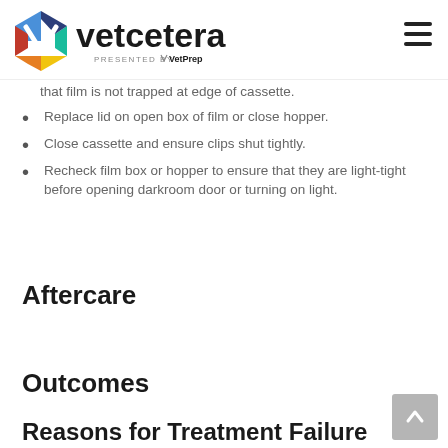vetcetera — PRESENTED BY VetPrep
that film is not trapped at edge of cassette.
Replace lid on open box of film or close hopper.
Close cassette and ensure clips shut tightly.
Recheck film box or hopper to ensure that they are light-tight before opening darkroom door or turning on light.
Aftercare
Outcomes
Reasons for Treatment Failure